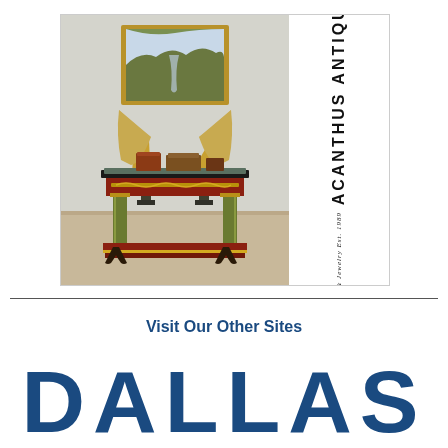[Figure (photo): Advertisement for Acanthus Antiques showing an antique console table with gold ornamental legs, two decorative lamps with shades, a landscape painting in a gold frame, and decorative boxes on the table surface. The right side of the ad shows vertical text reading 'ACANTHUS ANTIQUES' and 'Antiques, Fine Art & Jewelry Est. 1989' with a small crest logo.]
Visit Our Other Sites
DALLAS